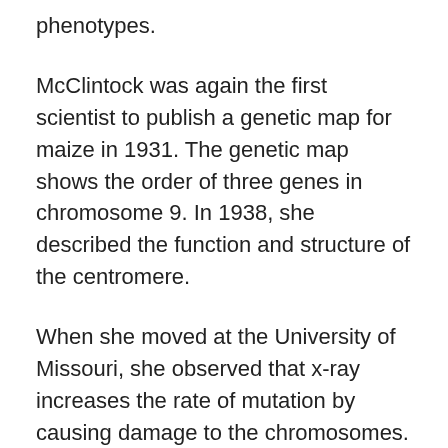phenotypes.
McClintock was again the first scientist to publish a genetic map for maize in 1931. The genetic map shows the order of three genes in chromosome 9. In 1938, she described the function and structure of the centromere.
When she moved at the University of Missouri, she observed that x-ray increases the rate of mutation by causing damage to the chromosomes. Using a microscope, McClintock observed that the ends of a single chromosome fused together to form a ring after radiation damage. She hypothesized that there is a structure at the tip of every chromosome that ensure stability. Later on, other scientists have